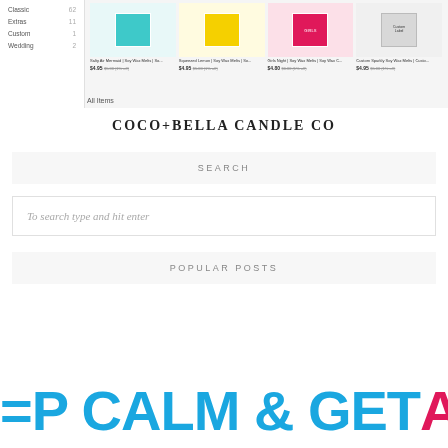[Figure (screenshot): Screenshot of a product listing page showing sidebar category navigation and product grid with candle wax melts]
COCO+BELLA CANDLE CO
SEARCH
To search type and hit enter
POPULAR POSTS
[Figure (other): Partial banner text reading KEEP CALM & GET A with blue and pink large text]